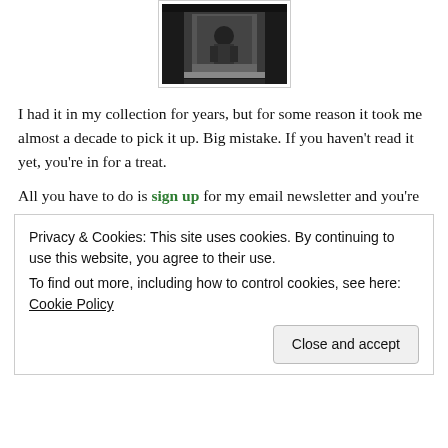[Figure (photo): Black and white photograph of a person or figure visible through what appears to be a doorway or opening, shown partially cropped at the top of the page.]
I had it in my collection for years, but for some reason it took me almost a decade to pick it up. Big mistake. If you haven't read it yet, you're in for a treat.
All you have to do is sign up for my email newsletter and you're
Privacy & Cookies: This site uses cookies. By continuing to use this website, you agree to their use.
To find out more, including how to control cookies, see here: Cookie Policy
Close and accept